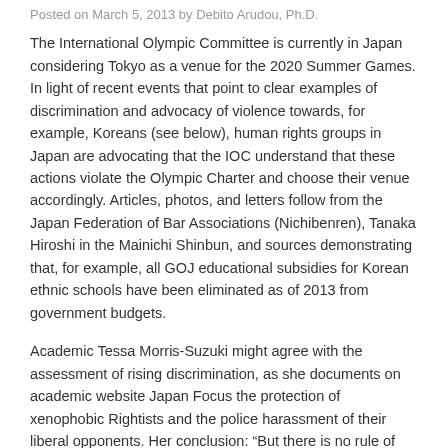Posted on March 5, 2013 by Debito Arudou, Ph.D.
The International Olympic Committee is currently in Japan considering Tokyo as a venue for the 2020 Summer Games. In light of recent events that point to clear examples of discrimination and advocacy of violence towards, for example, Koreans (see below), human rights groups in Japan are advocating that the IOC understand that these actions violate the Olympic Charter and choose their venue accordingly. Articles, photos, and letters follow from the Japan Federation of Bar Associations (Nichibenren), Tanaka Hiroshi in the Mainichi Shinbun, and sources demonstrating that, for example, all GOJ educational subsidies for Korean ethnic schools have been eliminated as of 2013 from government budgets.
Academic Tessa Morris-Suzuki might agree with the assessment of rising discrimination, as she documents on academic website Japan Focus the protection of xenophobic Rightists and the police harassment of their liberal opponents. Her conclusion: “But there is no rule of law if the instigators of violence are left to peddle hatred with impunity, while those who pursue historical justice and responsibility are subject to police harassment. There is no respect for human rights where those in power use cyber bullying in an attempt to silence their